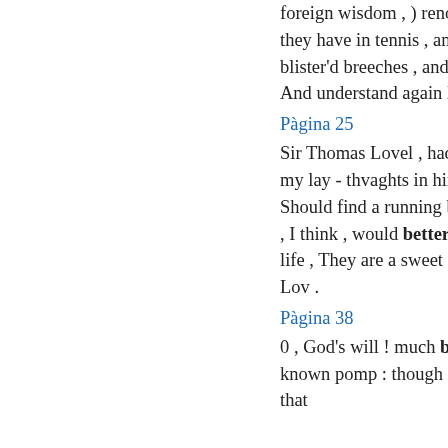foreign wisdom , ) renouncing clean The faith they have in tennis , and tall stockings , Short blister'd breeches , and those types of travel , And understand again like ...
Pàgina 25
Sir Thomas Lovel , had the cardinal But half my lay - thvaghts in him , some of these Should find a running banquet ere they rested , I think , would better please them : By my life , They are a sweet society of fair ones . Lov .
Pàgina 38
0 , God's will ! much better , She ne'er had known pomp : though it be temporal , Yet , if that